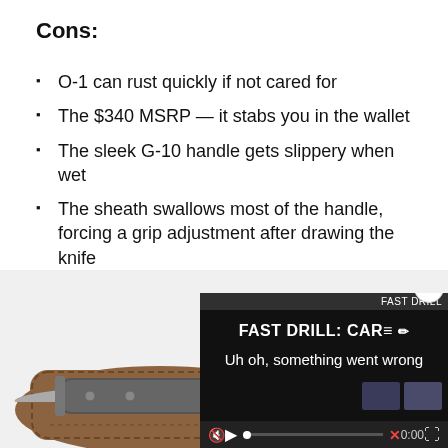Cons:
O-1 can rust quickly if not cared for
The $340 MSRP — it stabs you in the wallet
The sleek G-10 handle gets slippery when wet
The sheath swallows most of the handle, forcing a grip adjustment after drawing the knife
[Figure (photo): A fixed-blade knife with dark gray G-10 handle and brown leather sheath, partially inserted. A video overlay in the bottom right shows 'FAST DRILL: CAR' title with an error message 'Uh oh, something went wrong' and video player controls.]